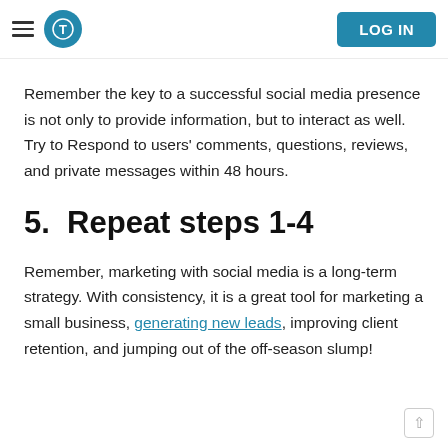LOG IN
Remember the key to a successful social media presence is not only to provide information, but to interact as well. Try to Respond to users' comments, questions, reviews, and private messages within 48 hours.
5.  Repeat steps 1-4
Remember, marketing with social media is a long-term strategy. With consistency, it is a great tool for marketing a small business, generating new leads, improving client retention, and jumping out of the off-season slump!